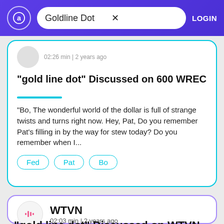Goldline Dot — LOGIN
02:26 min | 2 years ago
"gold line dot" Discussed on 600 WREC
"Bo, The wonderful world of the dollar is full of strange twists and turns right now. Hey, Pat, Do you remember Pat's filling in by the way for stew today? Do you remember when I...
Fed
Pat
Bo
WTVN
02:03 min | 2 years ago
"gold line dot" Discussed on WTVN